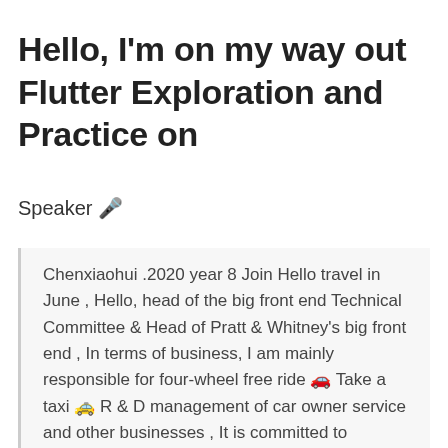Hello, I'm on my way out Flutter Exploration and Practice on
Speaker 🎤
Chenxiaohui .2020 year 8 Join Hello travel in June , Hello, head of the big front end Technical Committee & Head of Pratt & Whitney's big front end , In terms of business, I am mainly responsible for four-wheel free ride 🚗 Take a taxi 🚕 R & D management of car owner service and other businesses , It is committed to promoting the evolution of Harold's large front-end technology architecture towards